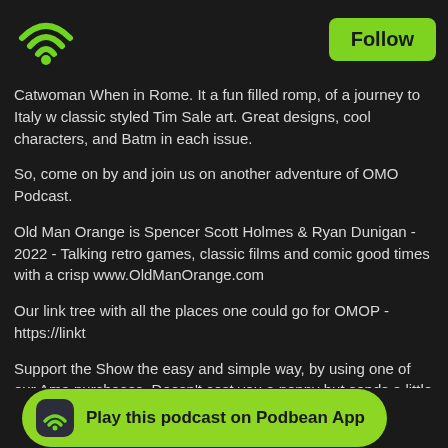[Figure (logo): Podbean WiFi/podcast logo icon in green at top left]
Follow
Catwoman When in Rome. It a fun filled romp, of a journey to Italy w classic styled Tim Sale art. Great designs, cool characters, and Batm in each issue.
So, come on by and join us on another adventure of OMO Podcast.
Old Man Orange is Spencer Scott Holmes & Ryan Dunigan - 2022 - Talking retro games, classic films and comic good times with a crisp www.OldManOrange.com
Our link tree with all the places one could go for OMOP - https://linkt
Support the Show the easy and simple way, by using one of our Ama purchases. Doesn't cost you a penny but sends a little something ou
Grab some comedy with,
Pizza Boyz, the sitcom styled Indie Comic series by Spencer Scott H
Indy Planet - https://indyplanet.com/?s=Pizza+boyz
Copyright reserved
Play this podcast on Podbean App